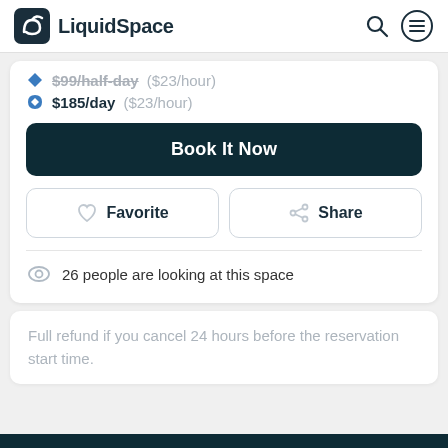LiquidSpace
$99/half-day ($23/hour)
$185/day ($23/hour)
Book It Now
Favorite
Share
26 people are looking at this space
Full refund if you cancel 24 hours before the reservation start time.